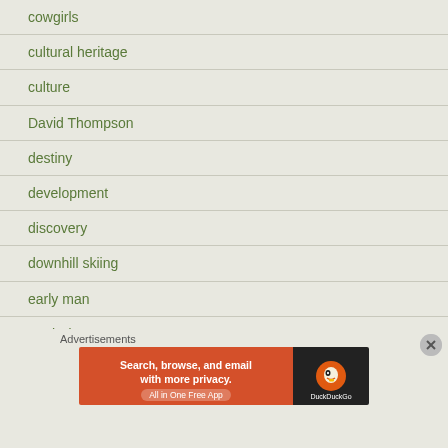cowgirls
cultural heritage
culture
David Thompson
destiny
development
discovery
downhill skiing
early man
earth day
edible flowers
elk
Advertisements
[Figure (screenshot): DuckDuckGo advertisement banner: Search, browse, and email with more privacy. All in One Free App]